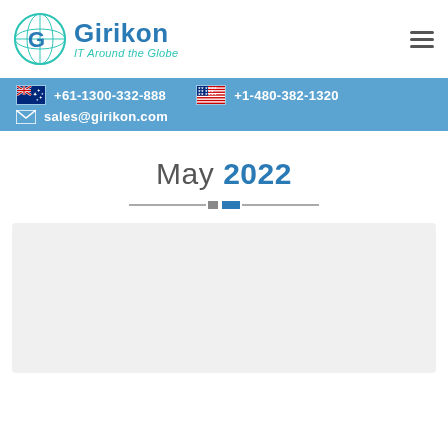Girikon IT Around the Globe
+61-1300-332-888   +1-480-382-1320   sales@girikon.com
May 2022
[Figure (other): Light gray placeholder card/content area]